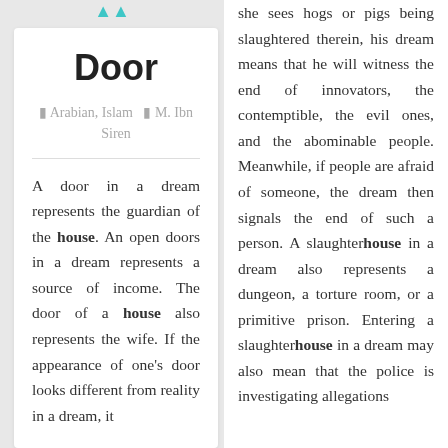[Figure (other): Teal/cyan double chevron up arrow navigation icon]
Door
Arabian, Islam  M. Ibn Siren
A door in a dream represents the guardian of the house. An open doors in a dream represents a source of income. The door of a house also represents the wife. If the appearance of one's door looks different from reality in a dream, it
she sees hogs or pigs being slaughtered therein, his dream means that he will witness the end of innovators, the contemptible, the evil ones, and the abominable people. Meanwhile, if people are afraid of someone, the dream then signals the end of such a person. A slaughterhouse in a dream also represents a dungeon, a torture room, or a primitive prison. Entering a slaughterhouse in a dream may also mean that the police is investigating allegations